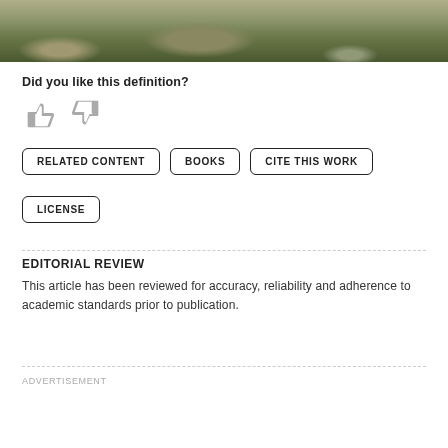[Figure (photo): Landscape photo showing rocky terrain with grass, visible at the top of the page as a cropped strip.]
Did you like this definition?
[Figure (illustration): Thumbs up and thumbs down icons in gray for user feedback rating.]
RELATED CONTENT   BOOKS   CITE THIS WORK   LICENSE
EDITORIAL REVIEW
This article has been reviewed for accuracy, reliability and adherence to academic standards prior to publication.
ADVERTISEMENT
REMOVE ADS